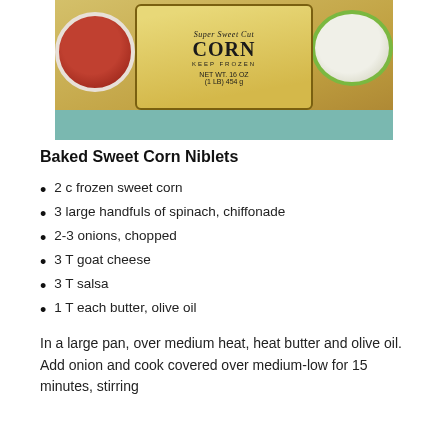[Figure (photo): Photo showing a bag of Super Sweet Cut Corn (NET WT. 16 OZ / 1 LB 454g, KEEP FROZEN) with a bowl of salsa on the left and a bowl of goat cheese on the right, on a teal surface.]
Baked Sweet Corn Niblets
2 c frozen sweet corn
3 large handfuls of spinach, chiffonade
2-3 onions, chopped
3 T goat cheese
3 T salsa
1 T each butter, olive oil
In a large pan, over medium heat, heat butter and olive oil. Add onion and cook covered over medium-low for 15 minutes, stirring